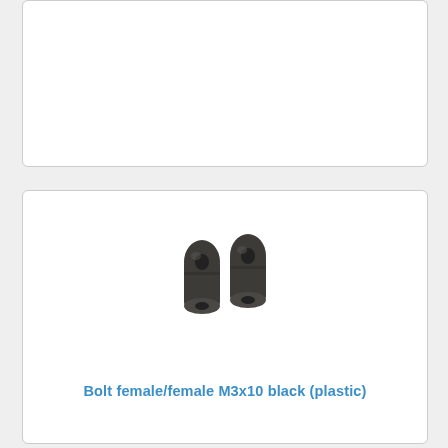[Figure (photo): Partial view of a product card (top portion cut off) with hardware components visible]
[Figure (photo): Two black plastic female/female M3x10 standoff bolts shown from above at an angle]
Bolt female/female M3x10 black (plastic)
[Figure (photo): Partial view of another product card showing black plastic bolts from a side angle (bottom cut off)]